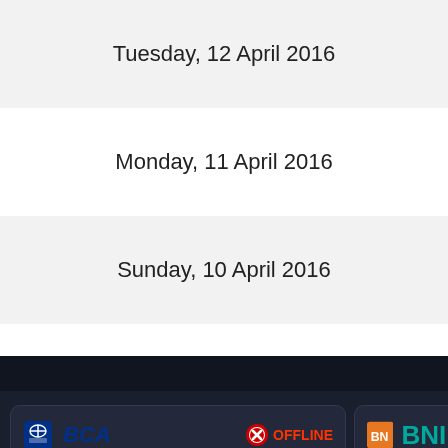Tuesday, 12 April 2016
Monday, 11 April 2016
Sunday, 10 April 2016
[Figure (screenshot): Bank status panel showing BCA (OFFLINE), BNI, CIMB Niaga (ONLINE), and Danamon bank logos with online/offline status indicators on dark background]